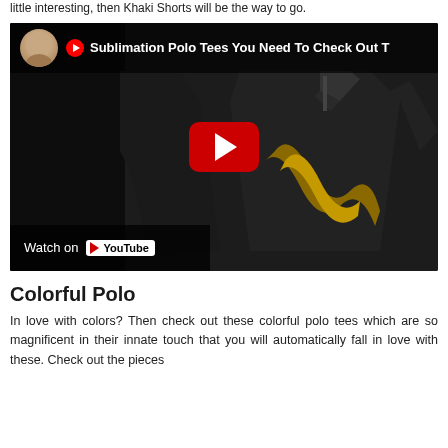little interesting, then Khaki Shorts will be the way to go.
[Figure (screenshot): YouTube video thumbnail showing black and gold sublimation polo tees with title 'Sublimation Polo Tees You Need To Check Out T' and a Watch on YouTube bar at the bottom left.]
Colorful Polo
In love with colors? Then check out these colorful polo tees which are so magnificent in their innate touch that you will automatically fall in love with these. Check out the pieces